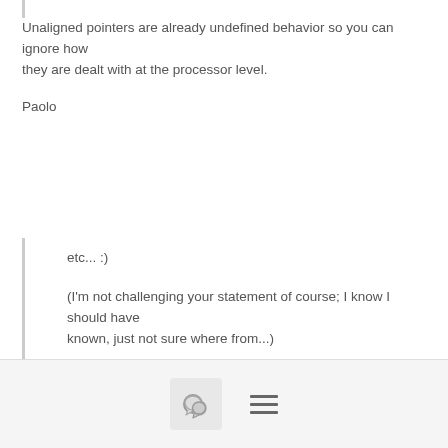Unaligned pointers are already undefined behavior so you can ignore how they are dealt with at the processor level.
Paolo
etc... :)
(I'm not challenging your statement of course; I know I should have known, just not sure where from...)
Thanks,
Laszlo
[Figure (other): Footer toolbar with a chat bubble icon button and a hamburger menu icon]